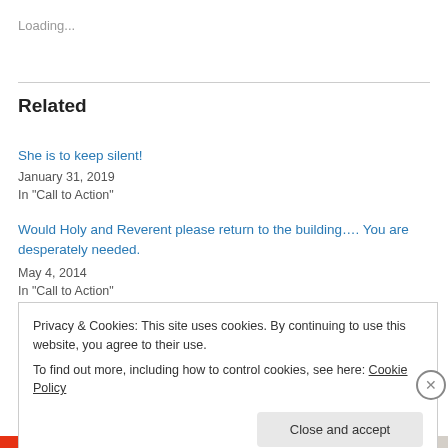Loading...
Related
She is to keep silent!
January 31, 2019
In "Call to Action"
Would Holy and Reverent please return to the building…. You are desperately needed.
May 4, 2014
In "Call to Action"
Privacy & Cookies: This site uses cookies. By continuing to use this website, you agree to their use.
To find out more, including how to control cookies, see here: Cookie Policy
Close and accept